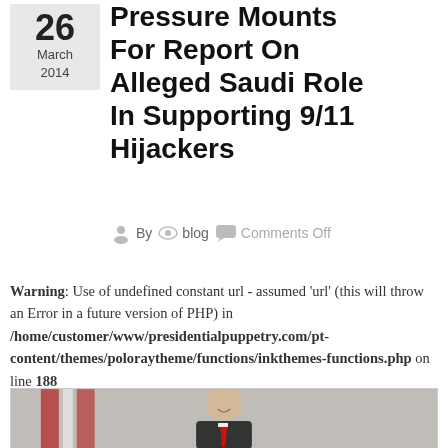Pressure Mounts For Report On Alleged Saudi Role In Supporting 9/11 Hijackers
26 March 2014
By blog Comments Off
Warning: Use of undefined constant url - assumed 'url' (this will throw an Error in a future version of PHP) in /home/customer/www/presidentialpuppetry.com/pt-content/themes/poloraytheme/functions/inkthemes-functions.php on line 188
[Figure (photo): An elderly man in a dark suit and red tie smiling in front of an American flag]